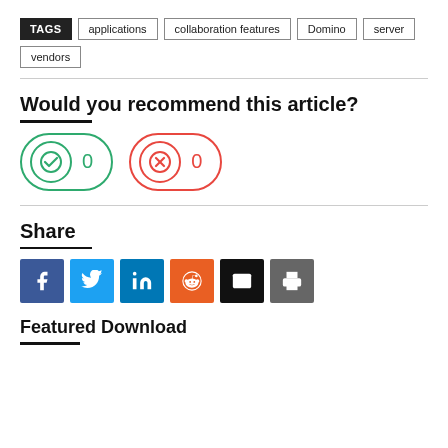TAGS  applications  collaboration features  Domino  server  vendors
Would you recommend this article?
[Figure (other): Two voting buttons: a green checkmark button with count 0 and a red X button with count 0]
Share
[Figure (other): Six social share icon buttons: Facebook (dark blue), Twitter (light blue), LinkedIn (blue), Reddit (orange), Email (black), Print (grey)]
Featured Download